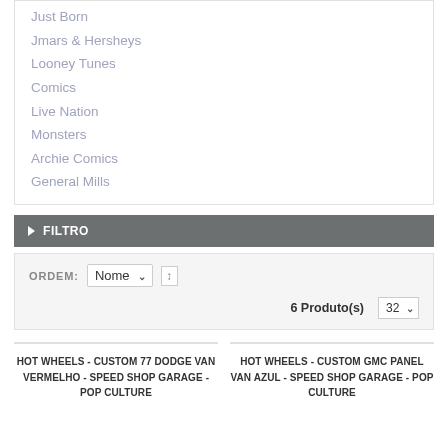Just Born
Jmars & Hersheys
Looney Tunes
Comics
Live Nation
Monsters
Archie Comics
General Mills
▶ FILTRO
ORDEM: Nome ▾  ↕
6 Produto(s)  32 ▾
HOT WHEELS - CUSTOM 77 DODGE VAN VERMELHO - SPEED SHOP GARAGE - POP CULTURE
HOT WHEELS - CUSTOM GMC PANEL VAN AZUL - SPEED SHOP GARAGE - POP CULTURE